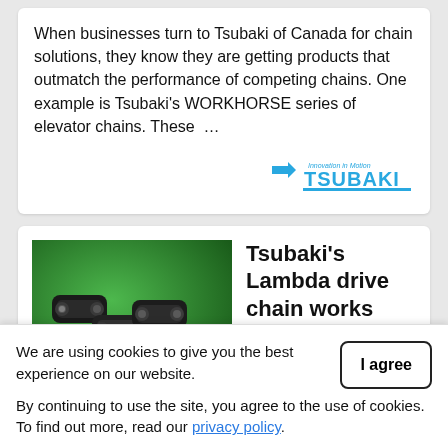When businesses turn to Tsubaki of Canada for chain solutions, they know they are getting products that outmatch the performance of competing chains. One example is Tsubaki's WORKHORSE series of elevator chains. These …
[Figure (logo): Tsubaki logo with 'Innovation in Motion' tagline in blue]
[Figure (photo): Close-up photograph of a dark metallic drive chain with cylindrical rollers on a green background]
Tsubaki's Lambda drive chain works with
We are using cookies to give you the best experience on our website.
By continuing to use the site, you agree to the use of cookies. To find out more, read our privacy policy.